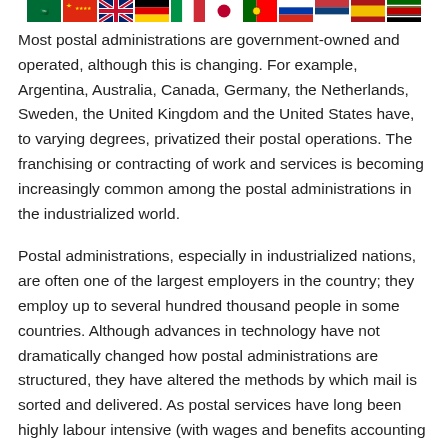[Figure (illustration): Row of country flags: Saudi Arabia, China, United Kingdom, Germany, Italy, Japan, Portugal, Russia, Serbia, Spain, Kenya]
Most postal administrations are government-owned and operated, although this is changing. For example, Argentina, Australia, Canada, Germany, the Netherlands, Sweden, the United Kingdom and the United States have, to varying degrees, privatized their postal operations. The franchising or contracting of work and services is becoming increasingly common among the postal administrations in the industrialized world.
Postal administrations, especially in industrialized nations, are often one of the largest employers in the country; they employ up to several hundred thousand people in some countries. Although advances in technology have not dramatically changed how postal administrations are structured, they have altered the methods by which mail is sorted and delivered. As postal services have long been highly labour intensive (with wages and benefits accounting for up to 80% of total operating costs in some countries), efforts to reduce these costs as well as to improve productivity and increase operating efficiency